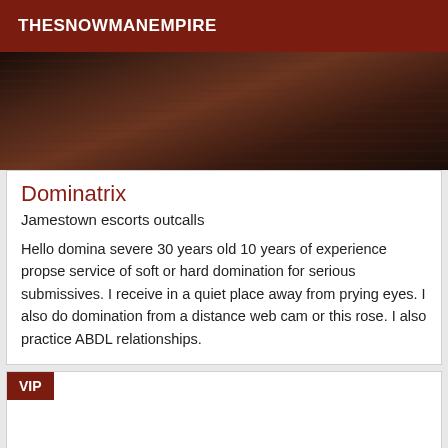THESNOWMANEMPIRE
[Figure (photo): Partial photo of a person wearing dark clothing, dimly lit background]
Dominatrix
Jamestown escorts outcalls
Hello domina severe 30 years old 10 years of experience propse service of soft or hard domination for serious submissives. I receive in a quiet place away from prying eyes. I also do domination from a distance web cam or this rose. I also practice ABDL relationships.
VIP